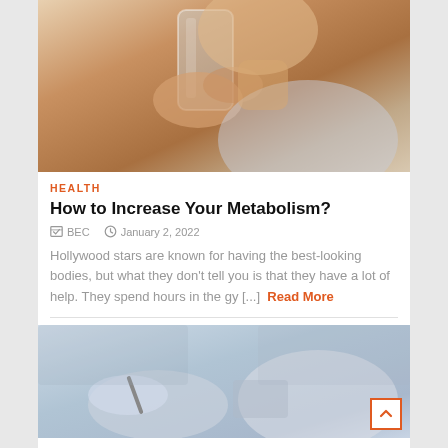[Figure (photo): Close-up photo of a person drinking water from a glass, wearing a patterned top]
HEALTH
How to Increase Your Metabolism?
✎ BEC   🕐 January 2, 2022
Hollywood stars are known for having the best-looking bodies, but what they don't tell you is that they have a lot of help. They spend hours in the gy [...] Read More
[Figure (photo): Two business people in professional attire, one holding a pen, appearing to review documents or a tablet]